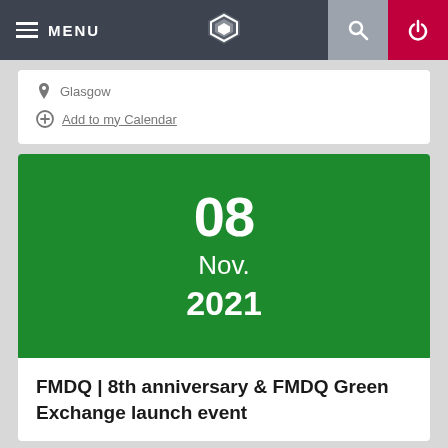MENU
Glasgow
Add to my Calendar
[Figure (other): Green event date card showing 08 Nov. 2021]
FMDQ | 8th anniversary & FMDQ Green Exchange launch event